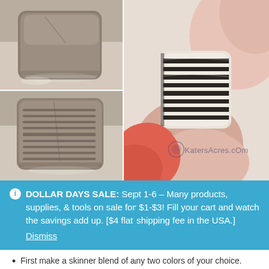[Figure (photo): Four photos of polymer clay blocks showing before/after of skinner blend cane making. Top-left: plain brown/grey square clay block. Top-right (large): fingers holding a square clay piece showing black and white stripes pattern on side. Bottom-left: clay block with horizontal grooves/lines cut into it. Bottom-right: same large striped clay block continued. Watermark: KatersAcres.com with logo.]
DOLLAR DAYS SALE: Sept 1-6 – Many products, supplies, & tools on sale for $1-$3! Fill your cart and watch the savings add up. [$4 flat shipping fee in the USA.] Dismiss
First make a skinner blend of any two colors of your choice.
NOTE: For my cane, I wanted it to be a neutral base with